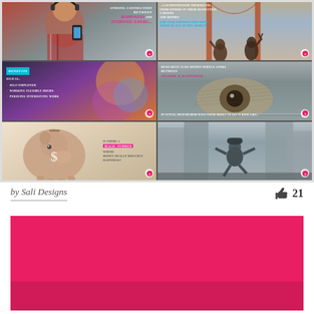[Figure (infographic): A 2x3 grid of infographic slides about happiness and money. Top-left: man with headphones, text about strong connection between happiness and music. Top-right: people at Golden Gate Bridge, text about reporting greater satisfaction with place in society. Middle-left: dark background with benefits list (self-employed, working flexible hours, pursuing interesting work). Middle-right: close-up of money/eye, text about income and happiness research. Bottom-left: piggy bank with dollar sign, text asking if there's a magic number where money really does buy happiness. Bottom-right: city street scene.]
by Sali Designs
21
[Figure (infographic): A solid crimson/magenta red rectangular block, lower section of page, representing the beginning of another infographic slide.]